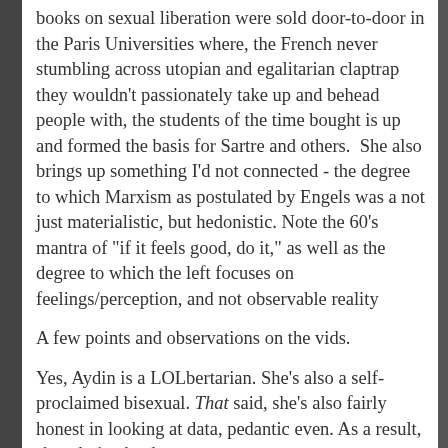books on sexual liberation were sold door-to-door in the Paris Universities where, the French never stumbling across utopian and egalitarian claptrap they wouldn't passionately take up and behead people with, the students of the time bought is up and formed the basis for Sartre and others.  She also brings up something I'd not connected - the degree to which Marxism as postulated by Engels was a not just materialistic, but hedonistic. Note the 60's mantra of "if it feels good, do it," as well as the degree to which the left focuses on feelings/perception, and not observable reality
A few points and observations on the vids.
Yes, Aydin is a LOLbertarian. She's also a self-proclaimed bisexual. That said, she's also fairly honest in looking at data, pedantic even. As a result, she admits that her